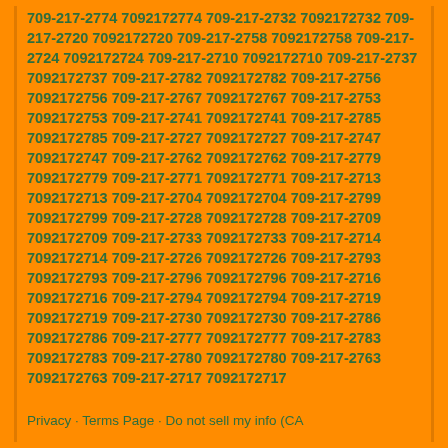709-217-2774 7092172774 709-217-2732 7092172732 709-217-2720 7092172720 709-217-2758 7092172758 709-217-2724 7092172724 709-217-2710 7092172710 709-217-2737 7092172737 709-217-2782 7092172782 709-217-2756 7092172756 709-217-2767 7092172767 709-217-2753 7092172753 709-217-2741 7092172741 709-217-2785 7092172785 709-217-2727 7092172727 709-217-2747 7092172747 709-217-2762 7092172762 709-217-2779 7092172779 709-217-2771 7092172771 709-217-2713 7092172713 709-217-2704 7092172704 709-217-2799 7092172799 709-217-2728 7092172728 709-217-2709 7092172709 709-217-2733 7092172733 709-217-2714 7092172714 709-217-2726 7092172726 709-217-2793 7092172793 709-217-2796 7092172796 709-217-2716 7092172716 709-217-2794 7092172794 709-217-2719 7092172719 709-217-2730 7092172730 709-217-2786 7092172786 709-217-2777 7092172777 709-217-2783 7092172783 709-217-2780 7092172780 709-217-2763 7092172763 709-217-2717 7092172717
Privacy · Terms Page · Do not sell my info (CA